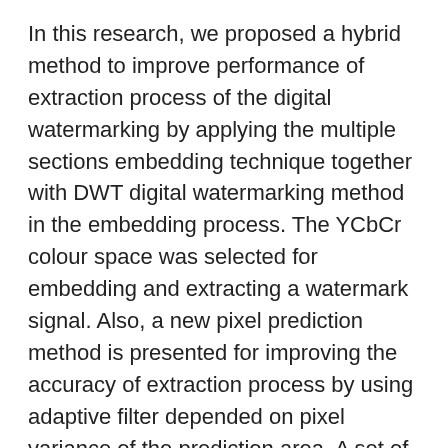In this research, we proposed a hybrid method to improve performance of extraction process of the digital watermarking by applying the multiple sections embedding technique together with DWT digital watermarking method in the embedding process. The YCbCr colour space was selected for embedding and extracting a watermark signal. Also, a new pixel prediction method is presented for improving the accuracy of extraction process by using adaptive filter depended on pixel variance of the prediction area. A set of experiments is created to support the proposed concepts including image under attack conditions and non-attack condition. The results of the experiments show the improvement of the extraction performance in term of normal correlation (NC). Also, the improvements in term of robustness against various types of attack e.g. JPEG compression attack, blurring attack, brightness adjustment attack, etc. are significantly increased. Especially in cropping